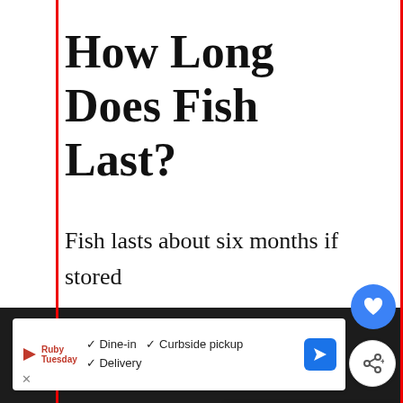How Long Does Fish Last?
Fish lasts about six months if stored properly. It is important to store fish in a cool place away from sunlight. Fish
[Figure (screenshot): Heart (like) button — blue circle with white heart icon]
[Figure (screenshot): Share button — white circle with share icon]
[Figure (screenshot): What's Next overlay with image thumbnail and text 'Can You Eat Canned...']
[Figure (screenshot): Advertisement banner for Ruby Tuesday with Dine-in, Curbside pickup, Delivery checkmarks and navigation icon]
or